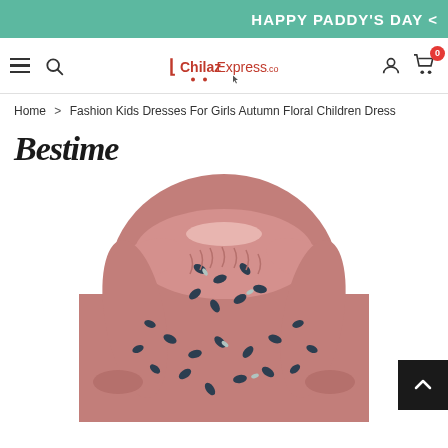HAPPY PADDY'S DAY <
[Figure (logo): ChilazExpress.com website logo with shopping cart icon, hamburger menu, search icon, user icon, and cart with badge showing 0]
Home > Fashion Kids Dresses For Girls Autumn Floral Children Dress
[Figure (photo): Bestime branded girls pink floral long-sleeve dress with ruffled collar and gathered skirt. The dress features a dark navy leaf/petal print on a dusty rose/pink background.]